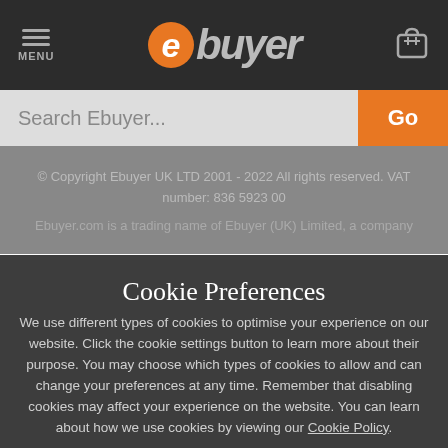MENU | ebuyer | [cart icon]
Search Ebuyer...
© Copyright Ebuyer UK LTD 2001 - 2022 All rights reserved. VAT number: 836 5923 00
Ebuyer.com is a trading name of Ebuyer (UK) Limited, a company
Cookie Preferences
We use different types of cookies to optimise your experience on our website. Click the cookie settings button to learn more about their purpose. You may choose which types of cookies to allow and can change your preferences at any time. Remember that disabling cookies may affect your experience on the website. You can learn about how we use cookies by viewing our Cookie Policy.
Amend Your Preference
Accept All Cookies